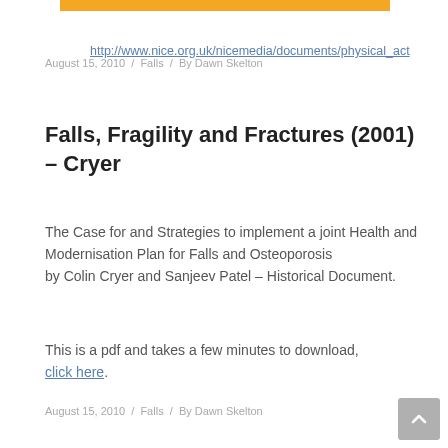http://www.nice.org.uk/nicemedia/documents/physical_act
August 15, 2010 / Falls / By Dawn Skelton
Falls, Fragility and Fractures (2001) – Cryer
The Case for and Strategies to implement a joint Health and Modernisation Plan for Falls and Osteoporosis
by Colin Cryer and Sanjeev Patel – Historical Document.
This is a pdf and takes a few minutes to download, click here.
August 15, 2010 / Falls / By Dawn Skelton